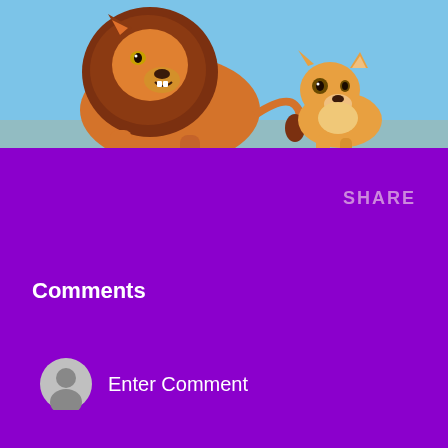[Figure (illustration): Animated scene from The Lion King showing an adult male lion (Mufasa) with a large orange mane on the left, and a small lion cub (Simba) on the right, against a light blue sky background.]
SHARE
Comments
Enter Comment